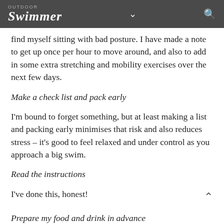OUTDOOR Swimmer
find myself sitting with bad posture. I have made a note to get up once per hour to move around, and also to add in some extra stretching and mobility exercises over the next few days.
Make a check list and pack early
I'm bound to forget something, but at least making a list and packing early minimises that risk and also reduces stress – it's good to feel relaxed and under control as you approach a big swim.
Read the instructions
I've done this, honest!
Prepare my food and drink in advance
I don't want to be hunting Windermere for bananas and